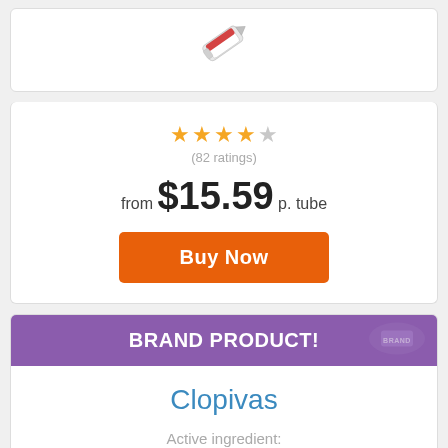[Figure (photo): Product image of a tube at top of card, partially visible]
★★★★☆ (82 ratings)
from $15.59 p. tube
Buy Now
BRAND PRODUCT!
Clopivas
Active ingredient:
Clopidogrel
NO